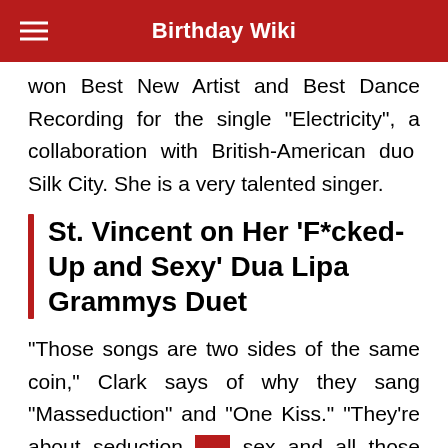Birthday Wiki
won Best New Artist and Best Dance Recording for the single "Electricity", a collaboration with British-American duo Silk City. She is a very talented singer.
St. Vincent on Her ‘F*cked-Up and Sexy’ Dua Lipa Grammys Duet
“Those songs are two sides of the same coin,” Clark says of why they sang “Masseduction” and “One Kiss.” “They’re about seduction and sex and all those things”. After years of anemic